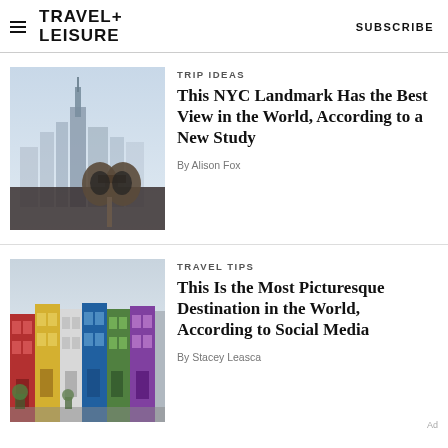TRAVEL+ LEISURE   SUBSCRIBE
TRIP IDEAS
This NYC Landmark Has the Best View in the World, According to a New Study
By Alison Fox
[Figure (photo): Aerial view of NYC skyline with Empire State Building in misty haze, binoculars in foreground]
TRAVEL TIPS
This Is the Most Picturesque Destination in the World, According to Social Media
By Stacey Leasca
[Figure (photo): Row of colorful townhouses in London, red, yellow, blue, green, purple facades]
Ad